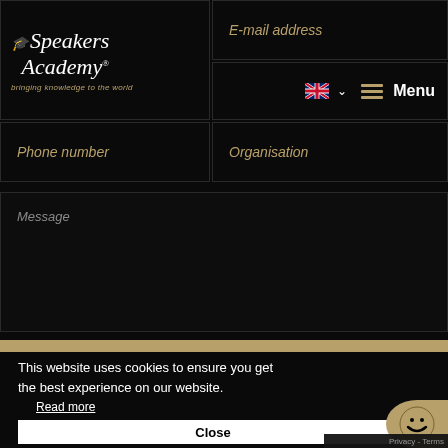[Figure (logo): Speakers Academy logo with graduation cap icon and tagline 'bringing knowledge to the world']
E-mail address
Phone number
Organisation
Message
This website uses cookies to ensure you get the best experience on our website.
Read more
Close
Privacy - Terms